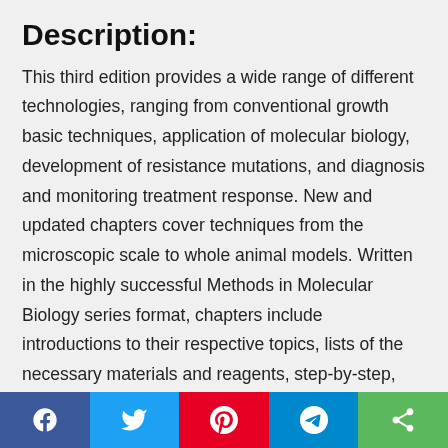Description:
This third edition provides a wide range of different technologies, ranging from conventional growth basic techniques, application of molecular biology, development of resistance mutations, and diagnosis and monitoring treatment response. New and updated chapters cover techniques from the microscopic scale to whole animal models. Written in the highly successful Methods in Molecular Biology series format, chapters include introductions to their respective topics, lists of the necessary materials and reagents, step-by-step,
Social share bar: Facebook, Twitter, Pinterest, Telegram, Share